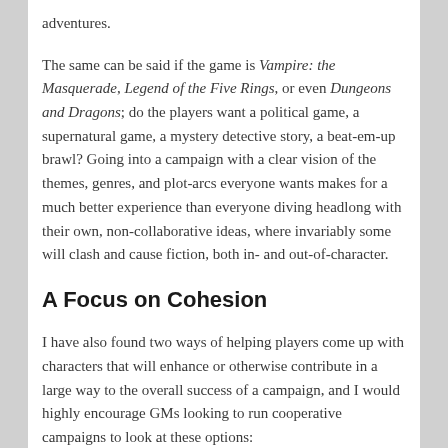adventures.
The same can be said if the game is Vampire: the Masquerade, Legend of the Five Rings, or even Dungeons and Dragons; do the players want a political game, a supernatural game, a mystery detective story, a beat-em-up brawl? Going into a campaign with a clear vision of the themes, genres, and plot-arcs everyone wants makes for a much better experience than everyone diving headlong with their own, non-collaborative ideas, where invariably some will clash and cause fiction, both in- and out-of-character.
A Focus on Cohesion
I have also found two ways of helping players come up with characters that will enhance or otherwise contribute in a large way to the overall success of a campaign, and I would highly encourage GMs looking to run cooperative campaigns to look at these options: